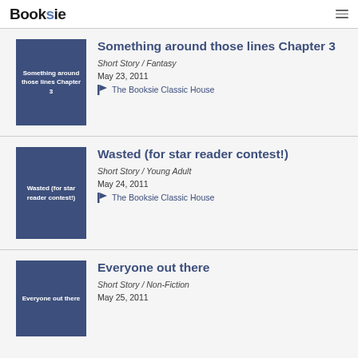Booksie
[Figure (other): Book cover thumbnail for 'Something around those lines Chapter 3' on dark navy background with white text]
Something around those lines Chapter 3
Short Story / Fantasy
May 23, 2011
The Booksie Classic House
[Figure (other): Book cover thumbnail for 'Wasted (for star reader contest!)' on dark navy background with white text]
Wasted (for star reader contest!)
Short Story / Young Adult
May 24, 2011
The Booksie Classic House
[Figure (other): Book cover thumbnail for 'Everyone out there' on dark navy background with white text]
Everyone out there
Short Story / Non-Fiction
May 25, 2011